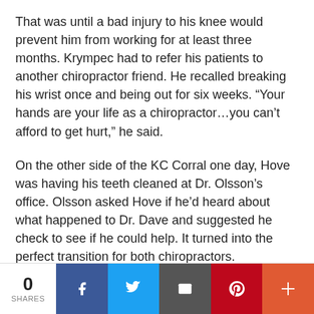That was until a bad injury to his knee would prevent him from working for at least three months. Krympec had to refer his patients to another chiropractor friend. He recalled breaking his wrist once and being out for six weeks. “Your hands are your life as a chiropractor…you can’t afford to get hurt,” he said.
On the other side of the KC Corral one day, Hove was having his teeth cleaned at Dr. Olsson’s office. Olsson asked Hove if he’d heard about what happened to Dr. Dave and suggested he check to see if he could help. It turned into the perfect transition for both chiropractors.
“Being back out here—I really like the people,” Hove said.
0 SHARES | Facebook | Twitter | Email | Pinterest | More